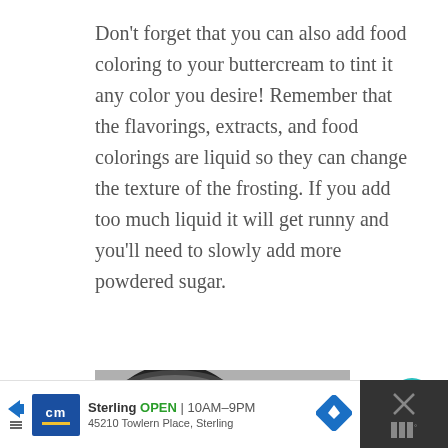Don't forget that you can also add food coloring to your buttercream to tint it any color you desire! Remember that the flavorings, extracts, and food colorings are liquid so they can change the texture of the frosting. If you add too much liquid it will get runny and you'll need to slowly add more powdered sugar.
[Figure (photo): Black and white photo of a mixing bowl and cream/frosting]
[Figure (other): Advertisement bar: CM logo, Sterling store OPEN 10AM-9PM, 45210 Towlern Place, Sterling with navigation icon]